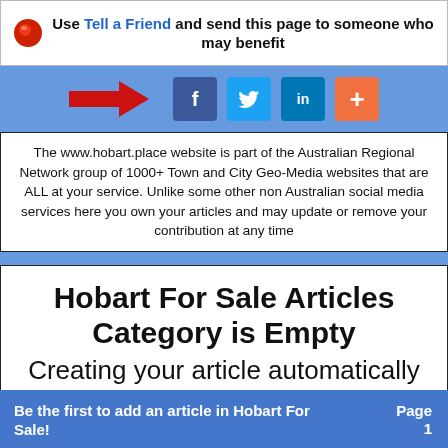Use Tell a Friend and send this page to someone who may benefit
[Figure (infographic): Share bar with red arrow pointing right and social media buttons: Facebook (f), Twitter (bird), LinkedIn (in), and a plus (+) button on a blue background]
The www.hobart.place website is part of the Australian Regional Network group of 1000+ Town and City Geo-Media websites that are ALL at your service. Unlike some other non Australian social media services here you own your articles and may update or remove your contribution at any time
Hobart For Sale Articles Category is Empty
Creating your article automatically replaces this entire page
Be the first to add an article in Hobart For Sale!   Page 1